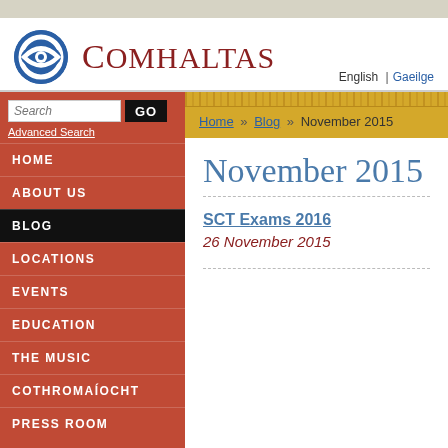[Figure (logo): Comhaltas logo: blue circle with white eye/c symbol, followed by site name 'COMHALTAS' in dark red serif font]
English | Gaeilge
Search  GO
Advanced Search
Home » Blog » November 2015
HOME
ABOUT US
BLOG
LOCATIONS
EVENTS
EDUCATION
THE MUSIC
COTHROMAÍOCHT
PRESS ROOM
November 2015
SCT Exams 2016
26 November 2015